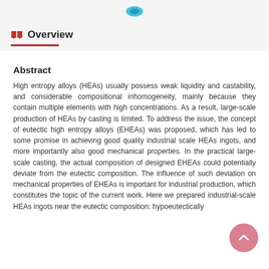Overview
Abstract
High entropy alloys (HEAs) usually possess weak liquidity and castability, and considerable compositional inhomogeneity, mainly because they contain multiple elements with high concentrations. As a result, large-scale production of HEAs by casting is limited. To address the issue, the concept of eutectic high entropy alloys (EHEAs) was proposed, which has led to some promise in achieving good quality industrial scale HEAs ingots, and more importantly also good mechanical properties. In the practical large-scale casting, the actual composition of designed EHEAs could potentially deviate from the eutectic composition. The influence of such deviation on mechanical properties of EHEAs is important for industrial production, which constitutes the topic of the current work. Here we prepared industrial-scale HEAs ingots near the eutectic composition: hypoeutectically